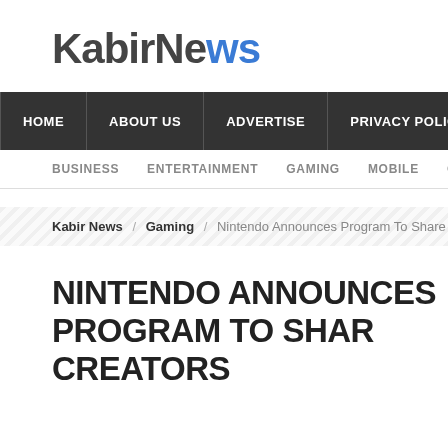[Figure (logo): KabirNews logo with dark gray text and blue 'ws' letters]
HOME | ABOUT US | ADVERTISE | PRIVACY POLICY | CAR...
BUSINESS | ENTERTAINMENT | GAMING | MOBILE | OPI...
Kabir News / Gaming / Nintendo Announces Program To Share Ad R...
NINTENDO ANNOUNCES PROGRAM TO SHARE... CREATORS